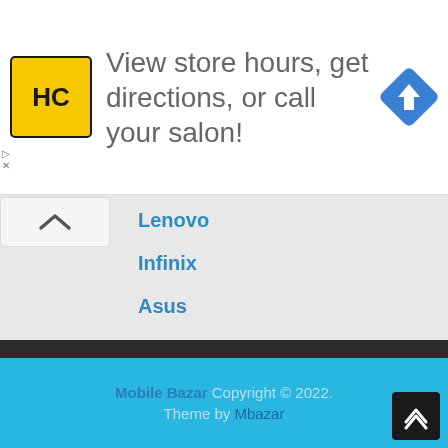[Figure (infographic): Advertisement banner with HC logo (yellow square with black HC text) and text 'View store hours, get directions, or call your salon!' with a blue diamond navigation icon on the right]
[Figure (other): Collapse/expand arrow button (chevron up) in a rounded rectangle]
Lenovo
Infinix
Asus
Motorola
Show More Brands ≫
Mobile Bazar Copyright © 2022. Theme by Mbazar